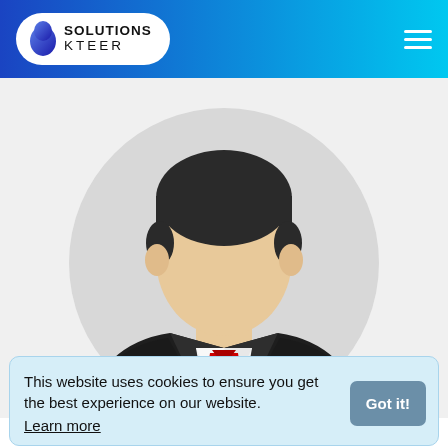Solutions Kteer
[Figure (illustration): Generic anonymous businessman avatar illustration: a faceless male figure with dark hair, wearing a dark suit and red tie, with a white shirt, set against a light grey circular background, on a light grey rectangular field.]
This website uses cookies to ensure you get the best experience on our website.
Learn more
Got it!